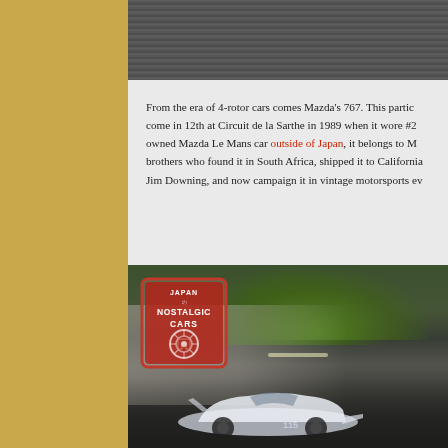[Figure (photo): Dark pavement / road texture strip at the top of the page]
From the era of 4-rotor cars comes Mazda's 767. This partic come in 12th at Circuit de la Sarthe in 1989 when it wore #2 owned Mazda Le Mans car outside of Japan, it belongs to M brothers who found it in South Africa, shipped it to California Jim Downing, and now campaign it in vintage motorsports ev
[Figure (photo): Photo of a white Mazda 767 Le Mans race car (#115) in motion, with blurred background showing trees and a building. A red 'Japan Nostalgic Cars' badge is overlaid in the top-left corner of the photo.]